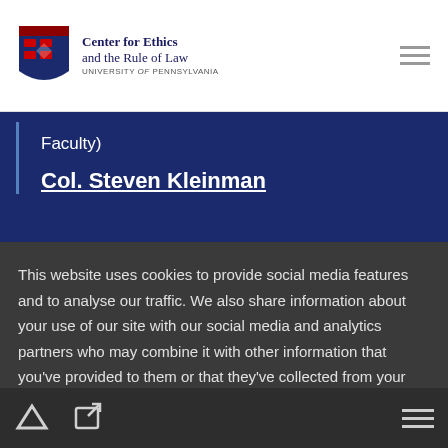Center for Ethics and the Rule of Law — University of Pennsylvania
Faculty)
Col. Steven Kleinman
This website uses cookies to provide social media features and to analyse our traffic. We also share information about your use of our site with our social media and analytics partners who may combine it with other information that you've provided to them or that they've collected from your use of their services. Privacy Policy
Allow Cookies